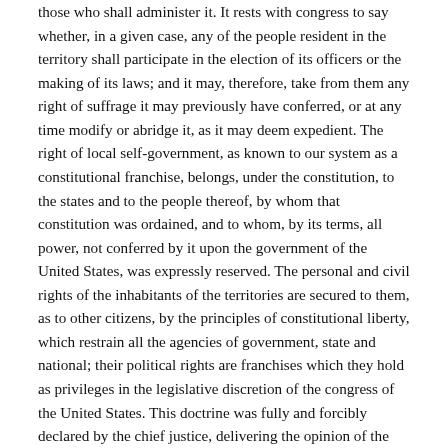those who shall administer it. It rests with congress to say whether, in a given case, any of the people resident in the territory shall participate in the election of its officers or the making of its laws; and it may, therefore, take from them any right of suffrage it may previously have conferred, or at any time modify or abridge it, as it may deem expedient. The right of local self-government, as known to our system as a constitutional franchise, belongs, under the constitution, to the states and to the people thereof, by whom that constitution was ordained, and to whom, by its terms, all power, not conferred by it upon the government of the United States, was expressly reserved. The personal and civil rights of the inhabitants of the territories are secured to them, as to other citizens, by the principles of constitutional liberty, which restrain all the agencies of government, state and national; their political rights are franchises which they hold as privileges in the legislative discretion of the congress of the United States. This doctrine was fully and forcibly declared by the chief justice, delivering the opinion of the court in National Bank v. County of Yankton, 101 U. S. 129. See, also, American Ins. Co. v. Canter, 1 Pet. 511; U. S. v. Gratio , 14 Pet. 526; Cross v. Harrison, 16 How. 164; Dred Scott v. Sandford, 19 How. 393. If we concede that this discretion in congress is limited by the obvious purposes for which it was conferred, and that those purposes are satisfied by measures which prepare the people of the